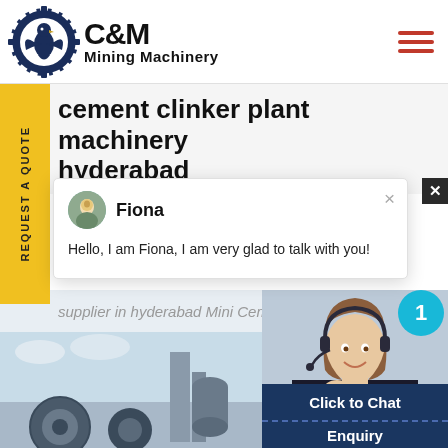C&M Mining Machinery
cement clinker plant machinery hyderabad
REQUEST A QUOTE
Fiona
Hello, I am Fiona, I am very glad to talk with you!
supplier in hyderabad Mini Cem
[Figure (photo): Customer service agent woman with headset, smiling]
1
Click to Chat
Enquiry